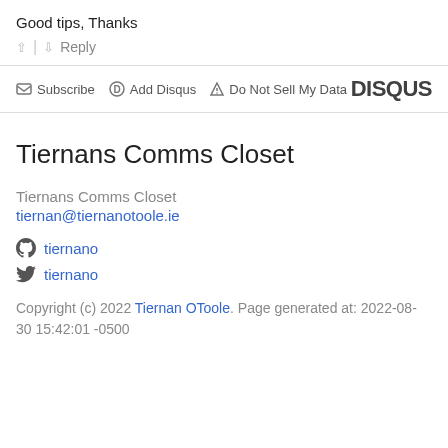Good tips, Thanks
↑ | ↓ Reply
✉ Subscribe  ⊕ Add Disqus  ▲ Do Not Sell My Data  DISQUS
Tiernans Comms Closet
Tiernans Comms Closet
tiernan@tiernanotoole.ie
tiernano
tiernano
Copyright (c) 2022 Tiernan OToole. Page generated at: 2022-08-30 15:42:01 -0500